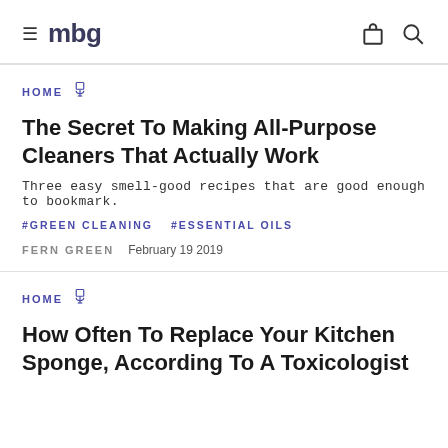mbg
HOME
The Secret To Making All-Purpose Cleaners That Actually Work
Three easy smell-good recipes that are good enough to bookmark.
#GREEN CLEANING   #ESSENTIAL OILS
FERN GREEN   February 19 2019
HOME
How Often To Replace Your Kitchen Sponge, According To A Toxicologist